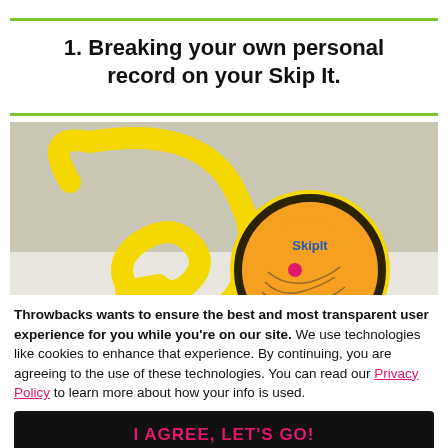1. Breaking your own personal record on your Skip It.
[Figure (photo): Photo of a yellow Skip It toy with an orange circular counter disc showing the Skip It logo, lying on a white surface.]
Throwbacks wants to ensure the best and most transparent user experience for you while you're on our site. We use technologies like cookies to enhance that experience. By continuing, you are agreeing to the use of these technologies. You can read our Privacy Policy to learn more about how your info is used.
I AGREE, LET'S GO!